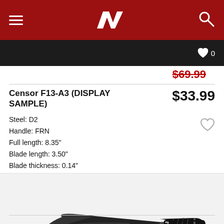Navigation header with hamburger menu, brand logo, and search icon
$69.99
Censor F13-A3 (DISPLAY SAMPLE)
$33.99
Steel: D2
Handle: FRN
Full length: 8.35"
Blade length: 3.50"
Blade thickness: 0.14"
[Figure (photo): Black folding pocket knife with textured handle shown open on white background with reflection]
$69.99